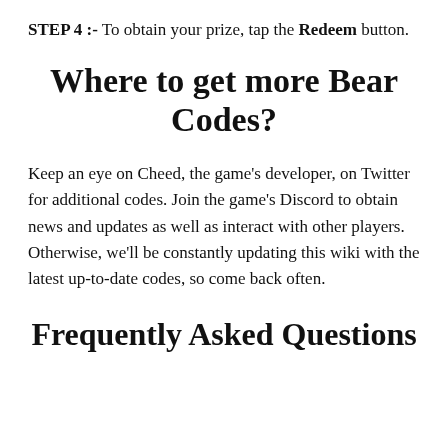STEP 4 :- To obtain your prize, tap the Redeem button.
Where to get more Bear Codes?
Keep an eye on Cheed, the game’s developer, on Twitter for additional codes. Join the game’s Discord to obtain news and updates as well as interact with other players. Otherwise, we’ll be constantly updating this wiki with the latest up-to-date codes, so come back often.
Frequently Asked Questions